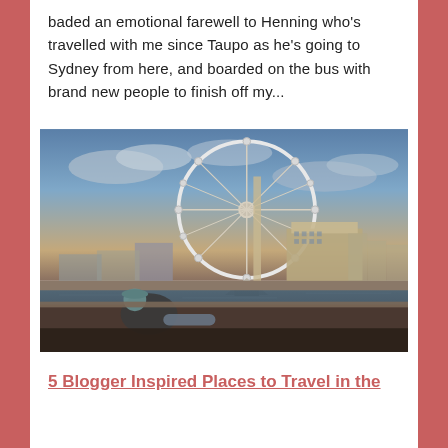baded an emotional farewell to Henning who's travelled with me since Taupo as he's going to Sydney from here, and boarded on the bus with brand new people to finish off my...
[Figure (photo): A photo of the London Eye (large Ferris wheel) along the Thames river at dusk/sunset, with a person sitting/leaning on a railing in the foreground, city buildings visible in the background.]
5 Blogger Inspired Places to Travel in the